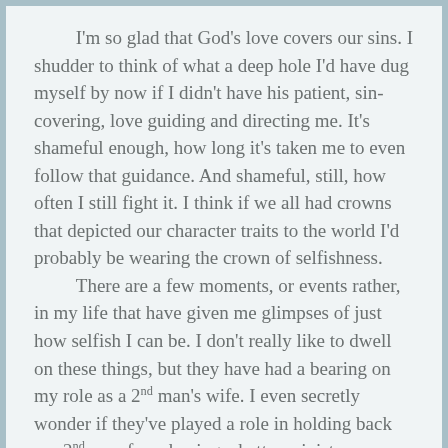I'm so glad that God's love covers our sins. I shudder to think of what a deep hole I'd have dug myself by now if I didn't have his patient, sin-covering, love guiding and directing me. It's shameful enough, how long it's taken me to even follow that guidance. And shameful, still, how often I still fight it. I think if we all had crowns that depicted our character traits to the world I'd probably be wearing the crown of selfishness.
	There are a few moments, or events rather, in my life that have given me glimpses of just how selfish I can be. I don't really like to dwell on these things, but they have had a bearing on my role as a 2nd man's wife. I even secretly wonder if they've played a role in holding back my 2nd man from having a better ministry or being who he could be had I submitted better to the leading in life. S...